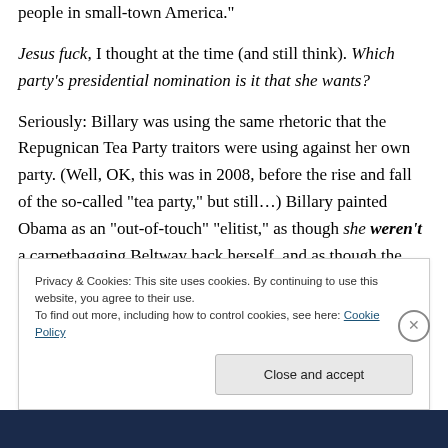people in small-town America."
Jesus fuck, I thought at the time (and still think). Which party’s presidential nomination is it that she wants?
Seriously: Billary was using the same rhetoric that the Repugnican Tea Party traitors were using against her own party. (Well, OK, this was in 2008, before the rise and fall of the so-called “tea party,” but still…) Billary painted Obama as an “out-of-touch” “elitist,” as though she weren’t a carpetbagging Beltway hack herself, and as though the state she had dragged her carpetbag to, New
Privacy & Cookies: This site uses cookies. By continuing to use this website, you agree to their use.
To find out more, including how to control cookies, see here: Cookie Policy
Close and accept